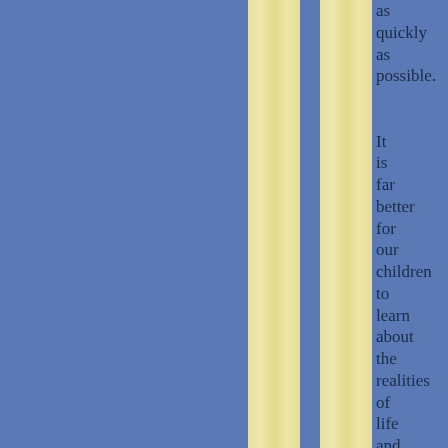[Figure (illustration): Two vertical yellow/cream-colored strips on a blue background, resembling bookmark or page strips]
as quickly as possible. It is far better for our children to learn about the realities of life and how to cope with them while they are